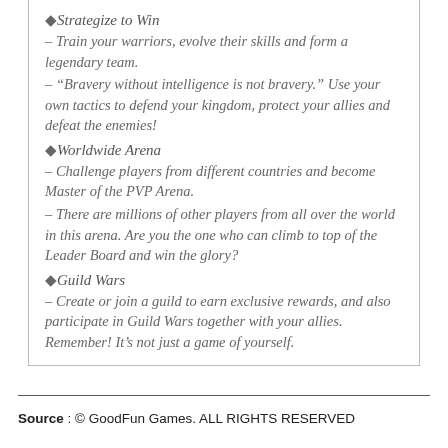◆Strategize to Win
– Train your warriors, evolve their skills and form a legendary team.
– "Bravery without intelligence is not bravery." Use your own tactics to defend your kingdom, protect your allies and defeat the enemies!
◆Worldwide Arena
– Challenge players from different countries and become Master of the PVP Arena.
– There are millions of other players from all over the world in this arena. Are you the one who can climb to top of the Leader Board and win the glory?
◆Guild Wars
– Create or join a guild to earn exclusive rewards, and also participate in Guild Wars together with your allies. Remember! It's not just a game of yourself.
Source: © GoodFun Games. ALL RIGHTS RESERVED